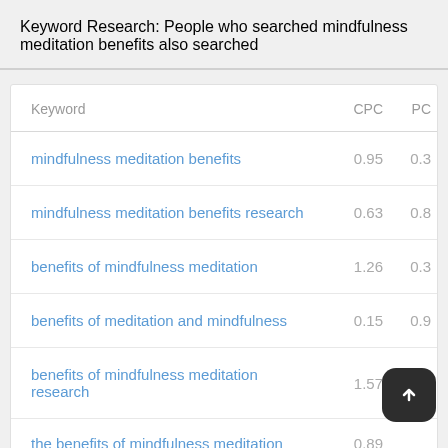Keyword Research: People who searched mindfulness meditation benefits also searched
| Keyword | CPC | PC |
| --- | --- | --- |
| mindfulness meditation benefits | 0.95 | 0.3 |
| mindfulness meditation benefits research | 0.63 | 0.8 |
| benefits of mindfulness meditation | 1.26 | 0.3 |
| benefits of meditation and mindfulness | 0.15 | 0.9 |
| benefits of mindfulness meditation research | 1.57 | 0.7 |
| the benefits of mindfulness meditation | 0.89 |  |
| the benefits of meditation and mindfulness | 1.10 | 0.1 |